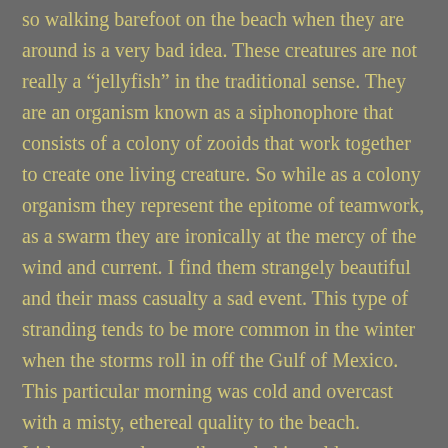so walking barefoot on the beach when they are around is a very bad idea. These creatures are not really a “jellyfish” in the traditional sense. They are an organism known as a siphonophore that consists of a colony of zooids that work together to create one living creature. So while as a colony organism they represent the epitome of teamwork, as a swarm they are ironically at the mercy of the wind and current. I find them strangely beautiful and their mass casualty a sad event. This type of stranding tends to be more common in the winter when the storms roll in off the Gulf of Mexico. This particular morning was cold and overcast with a misty, ethereal quality to the beach. Iridescent cerulean sails tangled in golden sargassum streamers were strewn about the sugar white sand as raucous gulls raided the spoils for morsels of trapped food. This force of nature went on for weeks with each pounding wave tossing more passive victims ashore to their ultimate death.